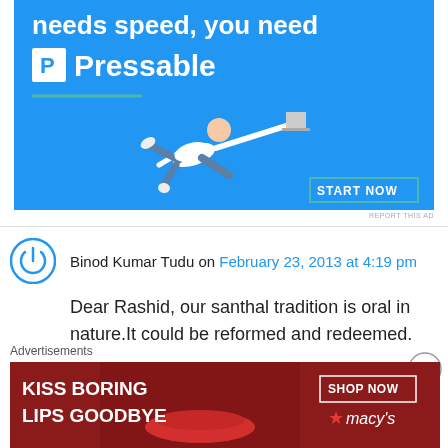[Figure (illustration): Pressable advertisement banner with blue background, flying person, 'needs speed, you need Pressable' text, green underline, and START NOW button]
REPORT THIS AD
Binod Kumar Tudu on February 23, 2013 at 4:19 pm
Dear Rashid, our santhal tradition is oral in nature.It could be reformed and redeemed.
Like
Advertisements
[Figure (illustration): Macy's advertisement: KISS BORING LIPS GOODBYE with SHOP NOW button and macy's logo on dark red background with lips photo]